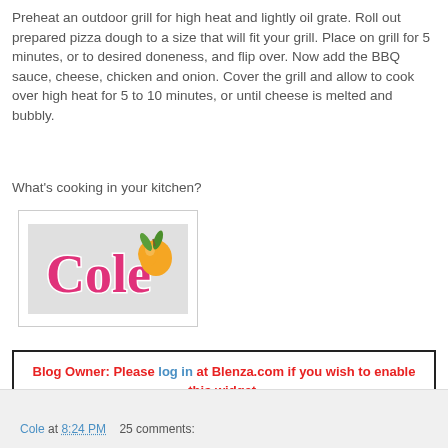Preheat an outdoor grill for high heat and lightly oil grate. Roll out prepared pizza dough to a size that will fit your grill. Place on grill for 5 minutes, or to desired doneness, and flip over. Now add the BBQ sauce, cheese, chicken and onion. Cover the grill and allow to cook over high heat for 5 to 10 minutes, or until cheese is melted and bubbly.
What's cooking in your kitchen?
[Figure (logo): Cole brand logo with stylized pink cursive text and a peach/heart fruit illustration with green leaves on a light gray background]
Blog Owner: Please log in at Blenza.com if you wish to enable this widget.
Cole at 8:24 PM   25 comments: